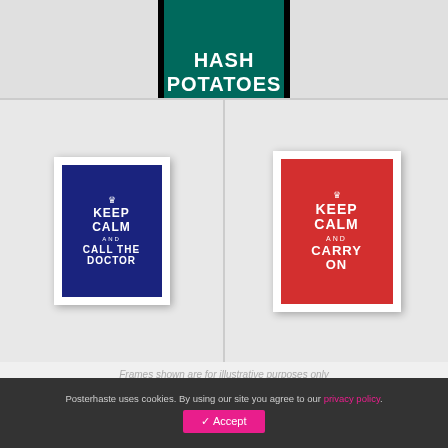[Figure (photo): A green 'Keep Calm' style poster showing 'HASH POTATOES' in a black frame, partially cropped at the top]
[Figure (photo): Two framed 'Keep Calm' style posters side by side: left is dark blue 'KEEP CALM AND CALL THE DOCTOR', right is red 'KEEP CALM AND CARRY ON']
Frames shown are for illustrative purposes only
Keep Calm and....make your choice
Posterhaste uses cookies. By using our site you agree to our privacy policy.